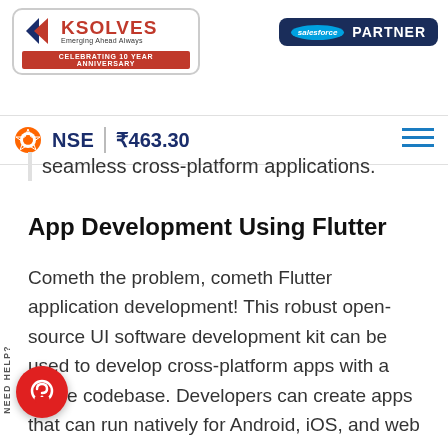[Figure (logo): Ksolves logo with triangle graphic, company name in red, tagline 'Emerging Ahead Always', and red anniversary ribbon reading 'CELEBRATING 10 YEAR ANNIVERSARY']
[Figure (logo): Salesforce Partner badge — dark navy blue rectangle with Salesforce cloud logo and 'PARTNER' text in white]
NSE ₹463.30
seamless cross-platform applications.
App Development Using Flutter
Cometh the problem, cometh Flutter application development! This robust open-source UI software development kit can be used to develop cross-platform apps with a single codebase. Developers can create apps that can run natively for Android, iOS, and web